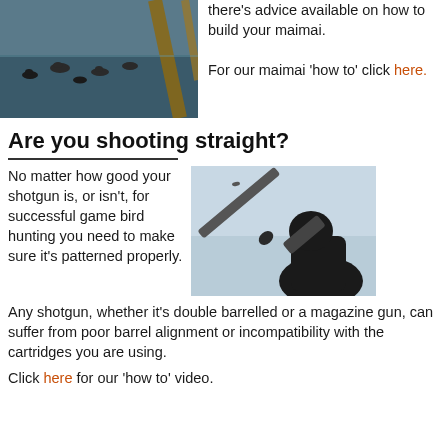[Figure (photo): Ducks on a body of water viewed from a hide/maimai, with wooden frame in foreground]
there's advice available on how to build your maimai.

For our maimai 'how to' click here.
Are you shooting straight?
No matter how good your shotgun is, or isn't, for successful game bird hunting you need to make sure it's patterned properly.
[Figure (photo): Silhouette of a hunter aiming a shotgun upward against a light blue sky]
Any shotgun, whether it's double barrelled or a magazine gun, can suffer from poor barrel alignment or incompatibility with the cartridges you are using.
Click here for our 'how to' video.